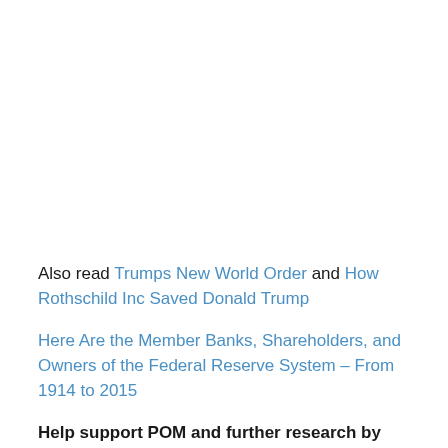Also read Trumps New World Order and How Rothschild Inc Saved Donald Trump
Here Are the Member Banks, Shareholders, and Owners of the Federal Reserve System – From 1914 to 2015
Help support POM and further research by subscribing.  Members will receive more detailed